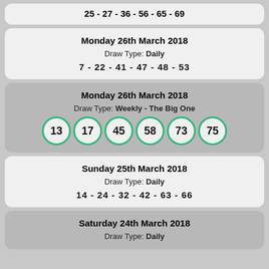25 - 27 - 36 - 56 - 65 - 69
Monday 26th March 2018
Draw Type: Daily
7 - 22 - 41 - 47 - 48 - 53
Monday 26th March 2018
Draw Type: Weekly - The Big One
13 17 45 58 73 75
Sunday 25th March 2018
Draw Type: Daily
14 - 24 - 32 - 42 - 63 - 66
Saturday 24th March 2018
Draw Type: Daily